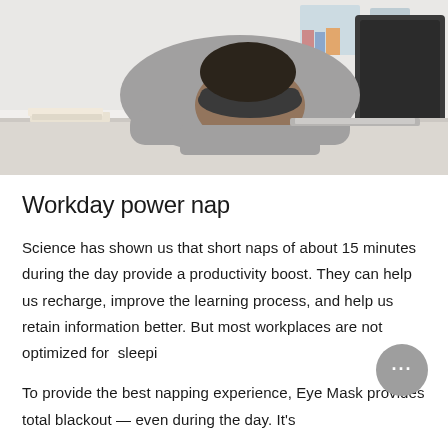[Figure (photo): A man wearing a sleep mask resting his head on his arms on a desk, with a closed laptop in front of him, in an office setting. White walls and a black chair are visible in the background.]
Workday power nap
Science has shown us that short naps of about 15 minutes during the day provide a productivity boost. They can help us recharge, improve the learning process, and help us retain information better. But most workplaces are not optimized for  sleepi
To provide the best napping experience, Eye Mask provides total blackout — even during the day. It's